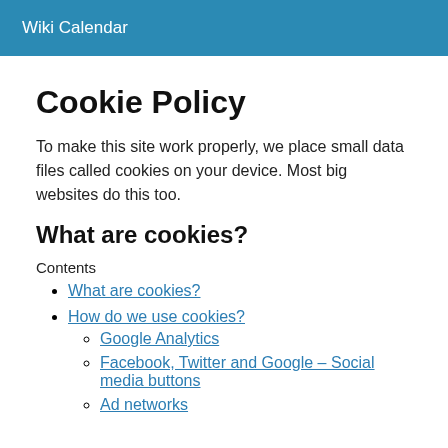Wiki Calendar
Cookie Policy
To make this site work properly, we place small data files called cookies on your device. Most big websites do this too.
What are cookies?
Contents
What are cookies?
How do we use cookies?
Google Analytics
Facebook, Twitter and Google – Social media buttons
Ad networks